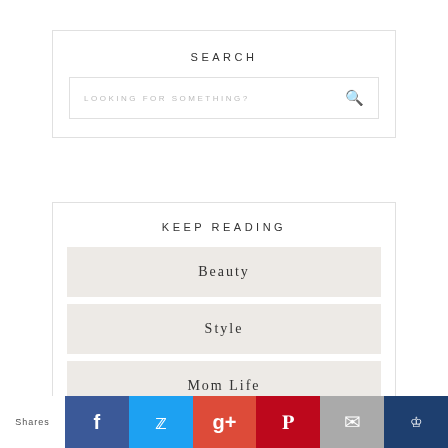SEARCH
LOOKING FOR SOMETHING?
KEEP READING
Beauty
Style
Mom Life
Shares | Facebook | Twitter | Google+ | Pinterest | Email | Bloglovin